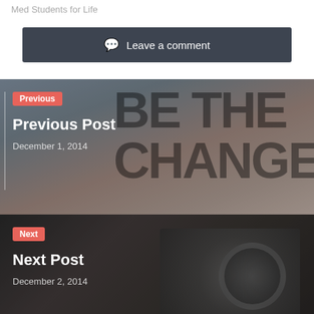Med Students for Life
Leave a comment
[Figure (photo): Previous post navigation image showing a person with overlaid text 'BE THE CHANGE']
Previous
Previous Post
December 1, 2014
[Figure (photo): Next post navigation image showing vintage camera equipment in black and white]
Next
Next Post
December 2, 2014